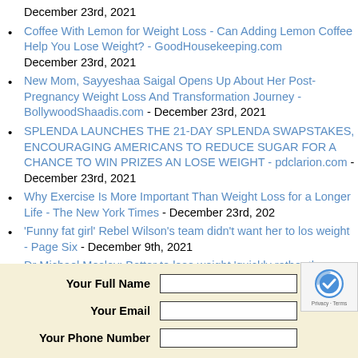December 23rd, 2021
Coffee With Lemon for Weight Loss - Can Adding Lemon Coffee Help You Lose Weight? - GoodHousekeeping.com December 23rd, 2021
New Mom, Sayyeshaa Saigal Opens Up About Her Post-Pregnancy Weight Loss And Transformation Journey - BollywoodShaadis.com - December 23rd, 2021
SPLENDA LAUNCHES THE 21-DAY SPLENDA SWAPSTAKES, ENCOURAGING AMERICANS TO REDUCE SUGAR FOR A CHANCE TO WIN PRIZES AND LOSE WEIGHT - pdclarion.com - December 23rd, 2021
Why Exercise Is More Important Than Weight Loss for a Longer Life - The New York Times - December 23rd, 2021
'Funny fat girl' Rebel Wilson's team didn't want her to lose weight - Page Six - December 9th, 2021
Dr Michael Mosley: Better to lose weight 'quickly rather than slowly' with easy changes - Express - December 9th, 2021
| Field | Input |
| --- | --- |
| Your Full Name |  |
| Your Email |  |
| Your Phone Number |  |